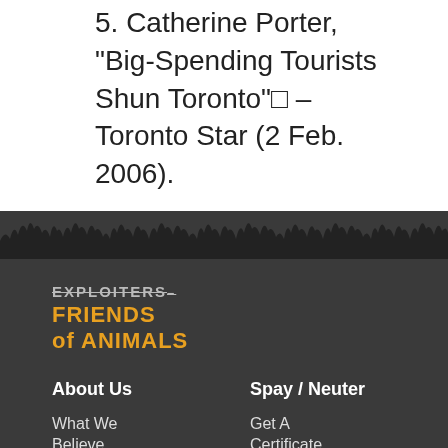5. Catherine Porter, "Big-Spending Tourists Shun Toronto"□ – Toronto Star (2 Feb. 2006).
[Figure (illustration): Decorative treeline silhouette divider between white content area and dark footer]
[Figure (logo): Friends of Animals logo with strikethrough EXPLOITERS text above and orange FRIENDS of ANIMALS text below]
About Us
Spay / Neuter
What We Believe
Get A Certificate
Staff
For Vets
Privacy Policy
FAQ